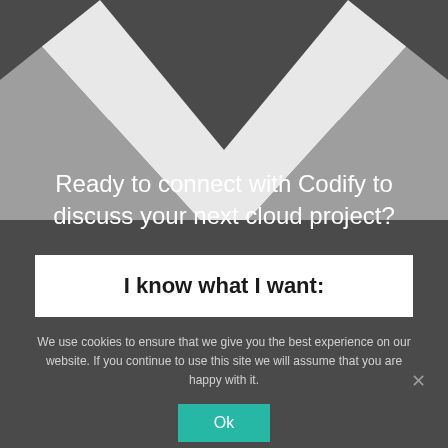[Figure (illustration): Geometric X-shaped graphic made of triangles in light gray, medium gray, and dark gray/charcoal tones forming a decorative header background]
Ready to connect with Codify to discuss your next cloud project?
I know what I want:
We use cookies to ensure that we give you the best experience on our website. If you continue to use this site we will assume that you are happy with it.